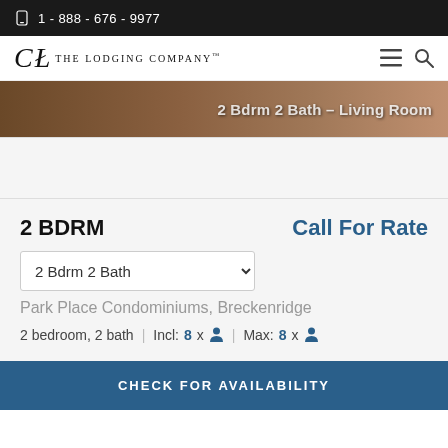1 - 888 - 676 - 9977
[Figure (logo): The Lodging Company logo with stylized TL monogram]
[Figure (photo): Interior photo of a 2 Bdrm 2 Bath Living Room, partially visible]
2 BDRM
Call For Rate
2 Bdrm 2 Bath
Park Place Condominiums, Breckenridge
2 bedroom, 2 bath | Incl: 8 x person | Max: 8 x person
CHECK FOR AVAILABILITY